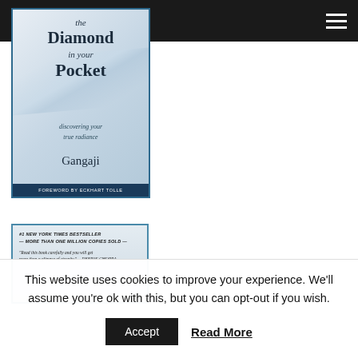the Diamond — navigation bar with Twitter, Facebook icons and hamburger menu
[Figure (photo): Book cover of 'The Diamond in your Pocket, discovering your true radiance' by Gangaji, foreword by Eckhart Tolle. Light blue-grey cover with ribbon imagery.]
[Figure (photo): Partial view of another book cover showing '#1 New York Times Bestseller — More than one million copies sold' and a quote 'Read this book carefully and you will get more than a glimpse of eternity.' —DEEPAK CHOPRA]
This website uses cookies to improve your experience. We'll assume you're ok with this, but you can opt-out if you wish.
Accept   Read More